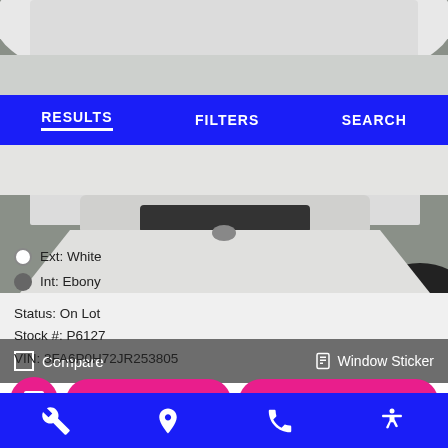[Figure (photo): White car front view photo, split by navigation bar, showing hood and front bumper area]
RESULTS   FILTERS   SEARCH
Ext: White
Int: Ebony
Status: On Lot
Stock #: P6127
VIN: 3FA6P0H72JR253805
Compare   Window Sticker
Trade or Sell?   Start Pre-Order